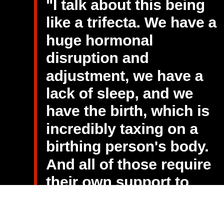"I talk about this being like a trifecta. We have a huge hormonal disruption and adjustment, we have a lack of sleep, and we have the birth, which is incredibly taxing on a birthing person's body. And all of those require their own support to sustain a birthing person through postpartum."